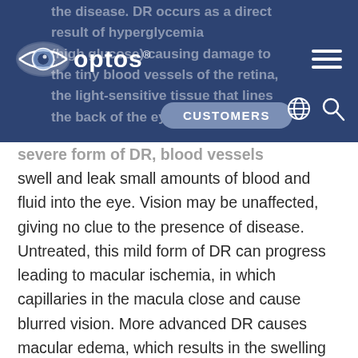[Figure (logo): Optos logo with eye icon on dark blue navigation bar, with hamburger menu, CUSTOMERS button, globe icon, and search icon]
the disease. DR occurs as a direct result of hyperglycemia (high glucose) causing damage to the tiny blood vessels of the retina, the light-sensitive tissue that lines the back of the eye. In the less severe form of DR, blood vessels swell and leak small amounts of blood and fluid into the eye. Vision may be unaffected, giving no clue to the presence of disease. Untreated, this mild form of DR can progress leading to macular ischemia, in which capillaries in the macula close and cause blurred vision. More advanced DR causes macular edema, which results in the swelling of the macula leading to the potential of complete vision loss.